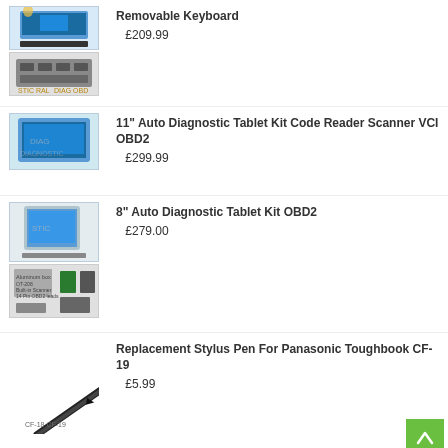[Figure (photo): Tablet with removable keyboard product images (two stacked)]
Removable Keyboard
£209.99
[Figure (photo): 11 inch Auto Diagnostic Tablet product images (two stacked)]
11" Auto Diagnostic Tablet Kit Code Reader Scanner VCI OBD2
£299.99
[Figure (photo): 8 inch Auto Diagnostic Tablet product images (two stacked)]
8" Auto Diagnostic Tablet Kit OBD2
£279.00
[Figure (photo): Replacement Stylus Pen For Panasonic Toughbook CF-19 product image labeled CF-18 CF-19]
Replacement Stylus Pen For Panasonic Toughbook CF-19
£5.99
Fast Charging USB Adaptor Plug